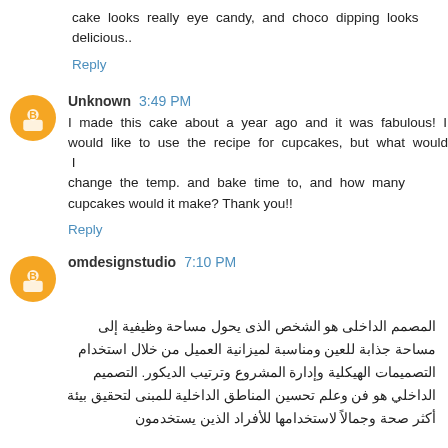cake looks really eye candy, and choco dipping looks delicious..
Reply
Unknown 3:49 PM
I made this cake about a year ago and it was fabulous! I would like to use the recipe for cupcakes, but what would I change the temp. and bake time to, and how many cupcakes would it make? Thank you!!
Reply
omdesignstudio 7:10 PM
المصمم الداخلى هو الشخص الذى يحول مساحة وظيفية إلى مساحة جذابة للعين ومناسبة لميزانية العميل من خلال استخدام التصميمات الهيكلية وإدارة المشروع وترتيب الديكور. التصميم الداخلي هو فن وعلم تحسين المناطق الداخلية للمبنى لتحقيق بيئة أكثر صحة وجمالاً لاستخدامها للأفراد الذين يستخدمون...